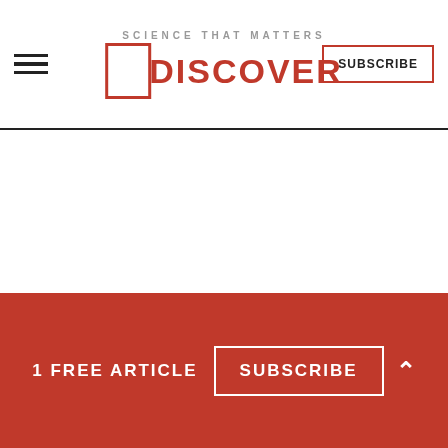DISCOVER — SCIENCE THAT MATTERS — SUBSCRIBE
Approximately "23 million American households
1 FREE ARTICLE   SUBSCRIBE